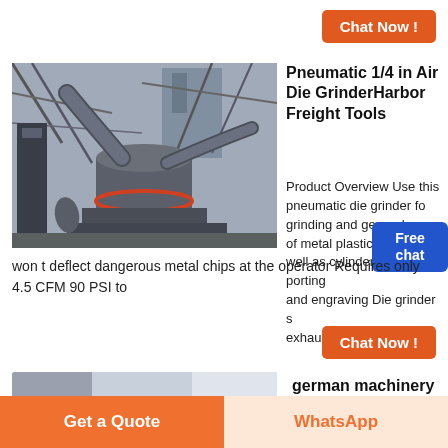Chat Now !
[Figure (photo): Industrial grinder / mill machine with large cylindrical body, pipes, and scaffolding structure outdoors]
Pneumatic 1/4 in Air Die GrinderHarbor Freight Tools
Product Overview Use this pneumatic die grinder for grinding and general shaping of metal plastic and wood as well as cylinder head porting and engraving Die grinder s exhaust is in the rear so it won t deflect dangerous metal chips at the operator Requires only 4.5 CFM 90 PSI to
Free chat
Chat Now !
[Figure (photo): Partial view of a second product image strip (gray gradient)]
german machinery for
Get a Quote
WhatsApp